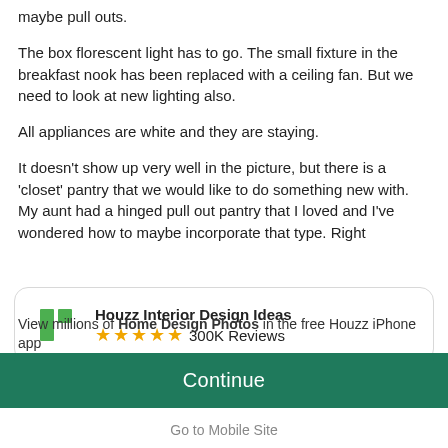maybe pull outs.
The box florescent light has to go. The small fixture in the breakfast nook has been replaced with a ceiling fan. But we need to look at new lighting also.
All appliances are white and they are staying.
It doesn't show up very well in the picture, but there is a 'closet' pantry that we would like to do something new with. My aunt had a hinged pull out pantry that I loved and I've wondered how to maybe incorporate that type. Right
[Figure (screenshot): Houzz app banner with green Houzz logo icon, app name 'Houzz Interior Design Ideas', five gold stars, and '300K Reviews']
View millions of Home Design Photos in the free Houzz iPhone app
Continue
Go to Mobile Site